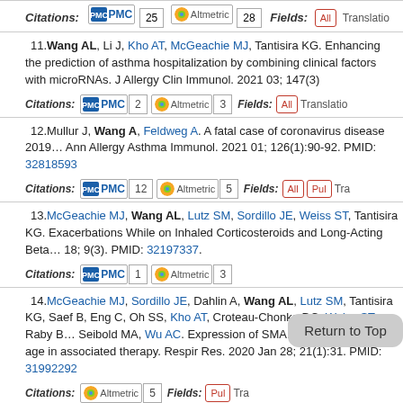11. Wang AL, Li J, Kho AT, McGeachie MJ, Tantisira KG. Enhancing the prediction of asthma hospitalization by combining clinical factors with microRNAs. J Allergy Clin Immunol. 2021 03; 147(3)...
Citations: PMC 2 Altmetric 3 Fields: All Translation...
12. Mullur J, Wang A, Feldweg A. A fatal case of coronavirus disease 2019... Ann Allergy Asthma Immunol. 2021 01; 126(1):90-92. PMID: 32818593...
Citations: PMC 12 Altmetric 5 Fields: All Pul Tra...
13. McGeachie MJ, Wang AL, Lutz SM, Sordillo JE, Weiss ST, Tantisira KG... Exacerbations While on Inhaled Corticosteroids and Long-Acting Beta... 18; 9(3). PMID: 32197337.
Citations: PMC 1 Altmetric 3
14. McGeachie MJ, Sordillo JE, Dahlin A, Wang AL, Lutz SM, Tantisira KG... Saef B, Eng C, Oh SS, Kho AT, Croteau-Chonka DC, Weiss ST, Raby B... Seibold MA, Wu AC. Expression of SMARCD1 interacts with age in ass... therapy. Respir Res. 2020 Jan 28; 21(1):31. PMID: 31992292...
Citations: Altmetric 5 Fields: Pul Tra...
15. Wang AL, Gruzieva O, Qiu W, Kebede Merid S, Celedón JC, Raby BA...